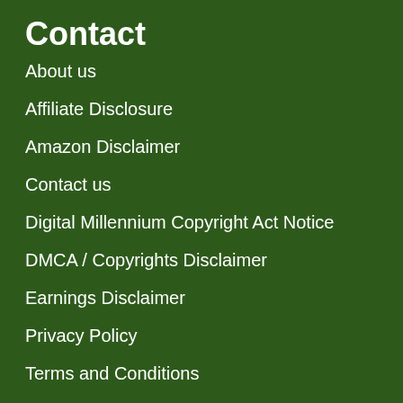Contact
About us
Affiliate Disclosure
Amazon Disclaimer
Contact us
Digital Millennium Copyright Act Notice
DMCA / Copyrights Disclaimer
Earnings Disclaimer
Privacy Policy
Terms and Conditions
Terms Of Use
Recent Vid…